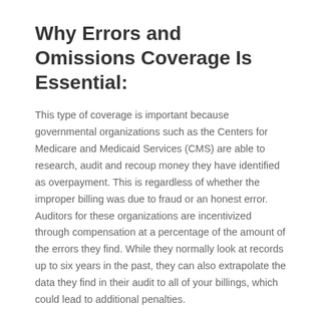Why Errors and Omissions Coverage Is Essential:
This type of coverage is important because governmental organizations such as the Centers for Medicare and Medicaid Services (CMS) are able to research, audit and recoup money they have identified as overpayment. This is regardless of whether the improper billing was due to fraud or an honest error. Auditors for these organizations are incentivized through compensation at a percentage of the amount of the errors they find. While they normally look at records up to six years in the past, they can also extrapolate the data they find in their audit to all of your billings, which could lead to additional penalties.